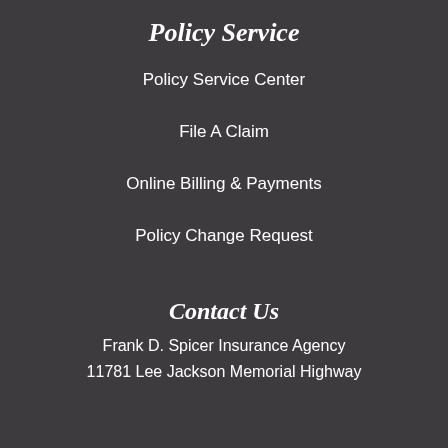Policy Service
Policy Service Center
File A Claim
Online Billing & Payments
Policy Change Request
Contact Us
Frank D. Spicer Insurance Agency
11781 Lee Jackson Memorial Highway